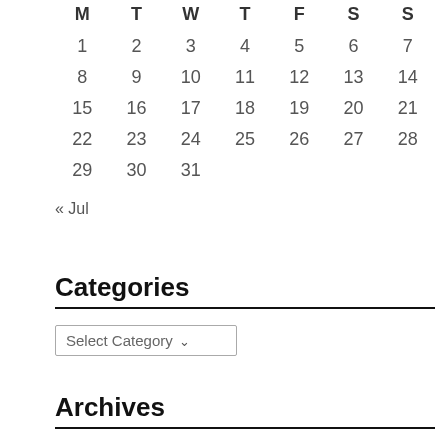| M | T | W | T | F | S | S |
| --- | --- | --- | --- | --- | --- | --- |
| 1 | 2 | 3 | 4 | 5 | 6 | 7 |
| 8 | 9 | 10 | 11 | 12 | 13 | 14 |
| 15 | 16 | 17 | 18 | 19 | 20 | 21 |
| 22 | 23 | 24 | 25 | 26 | 27 | 28 |
| 29 | 30 | 31 |  |  |  |  |
« Jul
Categories
Select Category
Archives